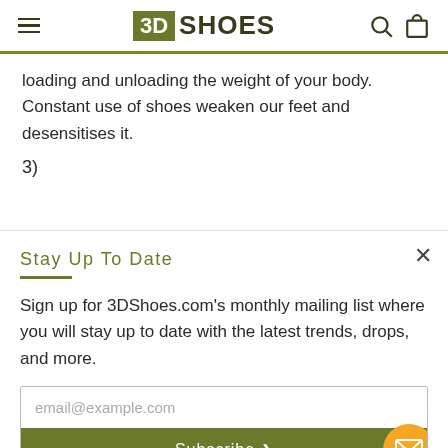3D SHOES
loading and unloading the weight of your body. Constant use of shoes weaken our feet and desensitises it.
3)
Stay Up To Date
Sign up for 3DShoes.com's monthly mailing list where you will stay up to date with the latest trends, drops, and more.